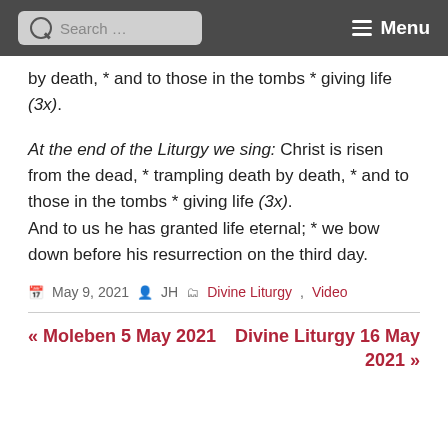Search ... Menu
by death, * and to those in the tombs * giving life (3x).
At the end of the Liturgy we sing: Christ is risen from the dead, * trampling death by death, * and to those in the tombs * giving life (3x).
And to us he has granted life eternal; * we bow down before his resurrection on the third day.
May 9, 2021  JH  Divine Liturgy, Video
« Moleben 5 May 2021
Divine Liturgy 16 May 2021 »